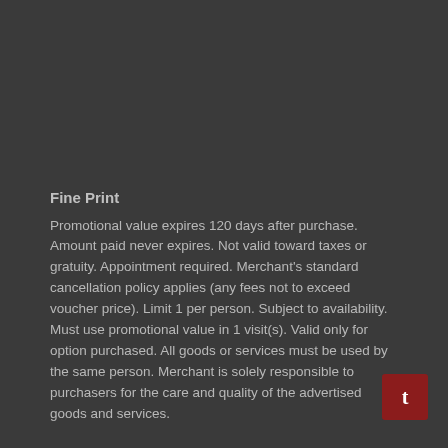Fine Print
Promotional value expires 120 days after purchase. Amount paid never expires. Not valid toward taxes or gratuity. Appointment required. Merchant's standard cancellation policy applies (any fees not to exceed voucher price). Limit 1 per person. Subject to availability. Must use promotional value in 1 visit(s). Valid only for option purchased. All goods or services must be used by the same person. Merchant is solely responsible to purchasers for the care and quality of the advertised goods and services.